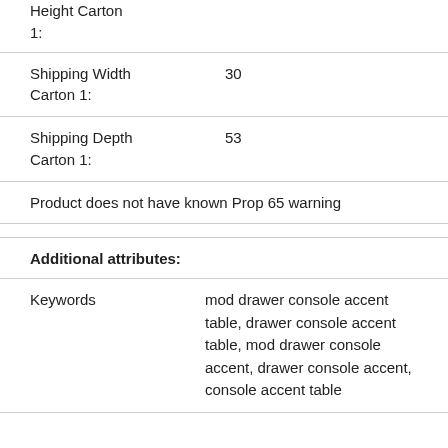| Height Carton 1: |  |
| Shipping Width Carton 1: | 30 |
| Shipping Depth Carton 1: | 53 |
Product does not have known Prop 65 warning
Additional attributes:
| Keywords | mod drawer console accent table, drawer console accent table, mod drawer console accent, drawer console accent, console accent table |